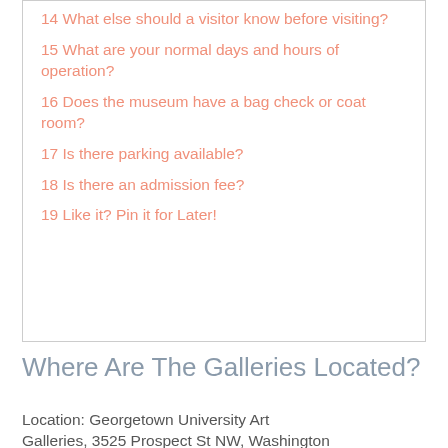14 What else should a visitor know before visiting?
15 What are your normal days and hours of operation?
16 Does the museum have a bag check or coat room?
17 Is there parking available?
18 Is there an admission fee?
19 Like it? Pin it for Later!
Where Are The Galleries Located?
Location: Georgetown University Art Galleries, 3525 Prospect St NW, Washington